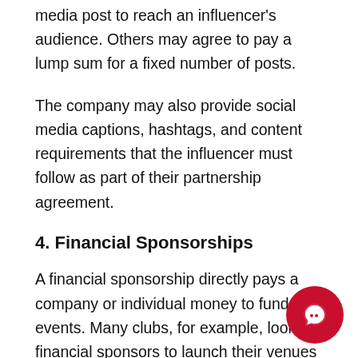media post to reach an influencer's audience. Others may agree to pay a lump sum for a fixed number of posts.
The company may also provide social media captions, hashtags, and content requirements that the influencer must follow as part of their partnership agreement.
4. Financial Sponsorships
A financial sponsorship directly pays a company or individual money to fund events. Many clubs, for example, look for financial sponsors to launch their venues and attract a large number of attende…
Financial sponsorships also benefit large-scale…